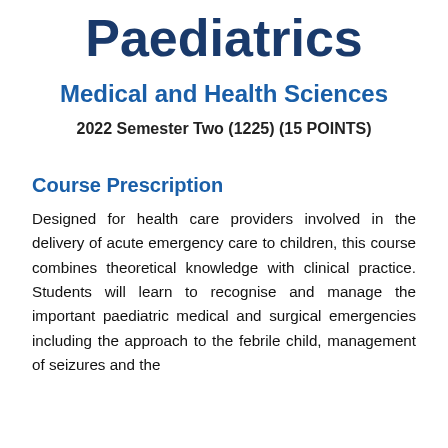Paediatrics
Medical and Health Sciences
2022 Semester Two (1225) (15 POINTS)
Course Prescription
Designed for health care providers involved in the delivery of acute emergency care to children, this course combines theoretical knowledge with clinical practice. Students will learn to recognise and manage the important paediatric medical and surgical emergencies including the approach to the febrile child, management of seizures and the